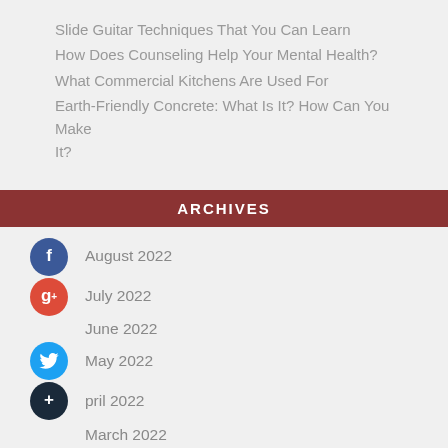Slide Guitar Techniques That You Can Learn
How Does Counseling Help Your Mental Health?
What Commercial Kitchens Are Used For
Earth-Friendly Concrete: What Is It? How Can You Make It?
ARCHIVES
August 2022
July 2022
June 2022
May 2022
April 2022
March 2022
February 2022